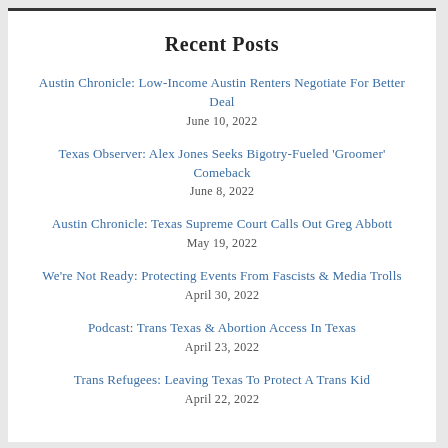Recent Posts
Austin Chronicle: Low-Income Austin Renters Negotiate For Better Deal
June 10, 2022
Texas Observer: Alex Jones Seeks Bigotry-Fueled 'Groomer' Comeback
June 8, 2022
Austin Chronicle: Texas Supreme Court Calls Out Greg Abbott
May 19, 2022
We're Not Ready: Protecting Events From Fascists & Media Trolls
April 30, 2022
Podcast: Trans Texas & Abortion Access In Texas
April 23, 2022
Trans Refugees: Leaving Texas To Protect A Trans Kid
April 22, 2022